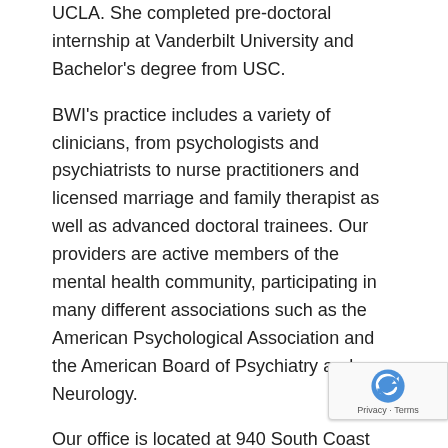UCLA. She completed pre-doctoral internship at Vanderbilt University and Bachelor's degree from USC.
BWI's practice includes a variety of clinicians, from psychologists and psychiatrists to nurse practitioners and licensed marriage and family therapist as well as advanced doctoral trainees. Our providers are active members of the mental health community, participating in many different associations such as the American Psychological Association and the American Board of Psychiatry and Neurology.
Our office is located at 940 South Coast Drive, Suite 225 in Costa Mesa, California. We can be